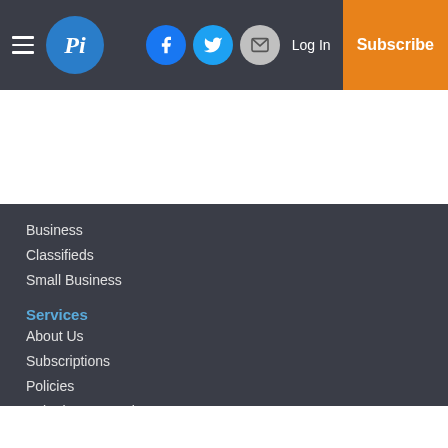Picayune Item — Log In | Subscribe
Business
Classifieds
Small Business
Services
About Us
Subscriptions
Policies
Submit a News Tip
Submit a Photo
Copyright
© 2022, Picayune Item